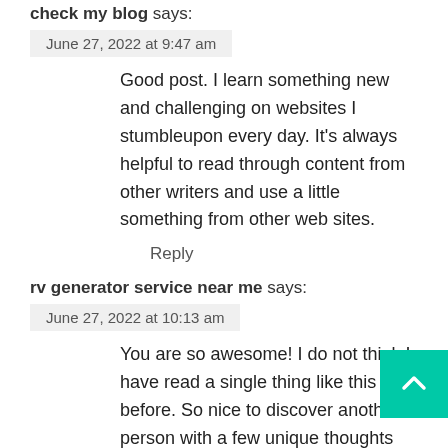check my blog says:
June 27, 2022 at 9:47 am
Good post. I learn something new and challenging on websites I stumbleupon every day. It's always helpful to read through content from other writers and use a little something from other web sites.
Reply
rv generator service near me says:
June 27, 2022 at 10:13 am
You are so awesome! I do not think I have read a single thing like this before. So nice to discover another person with a few unique thoughts on this subject matter. Really thanks for starting this up. This websit one thing that is needed on the internet,